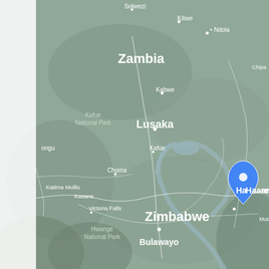[Figure (map): Satellite/terrain map showing Zambia and Zimbabwe region in southern Africa. Notable labels include: Solwezi, Kitwe, Ndola, Zambia (large bold), Kafue National Park, Kabwe, Lusaka (large bold), Kafue, Choma, Katima Mulilo, Kasane, Victoria Falls, Hwange National Park, Zimbabwe (large bold), Bulawayo, Harare (with blue location pin marker), Muta, Chipa, Iongu. The map has a muted greenish-grey terrain color with white road lines and white city/country labels. A blue teardrop location pin is placed at Harare.]